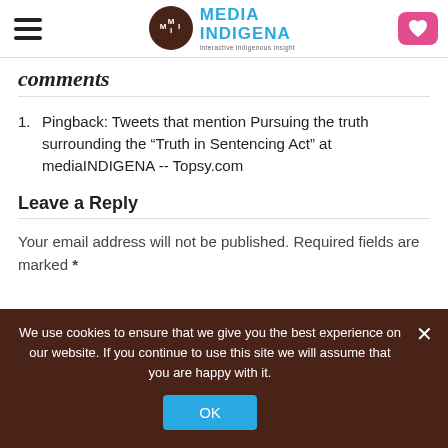Media Indigena — interactive indigenous insight
Comments
Pingback: Tweets that mention Pursuing the truth surrounding the “Truth in Sentencing Act” at mediaINDIGENA -- Topsy.com
Leave a Reply
Your email address will not be published. Required fields are marked *
We use cookies to ensure that we give you the best experience on our website. If you continue to use this site we will assume that you are happy with it.